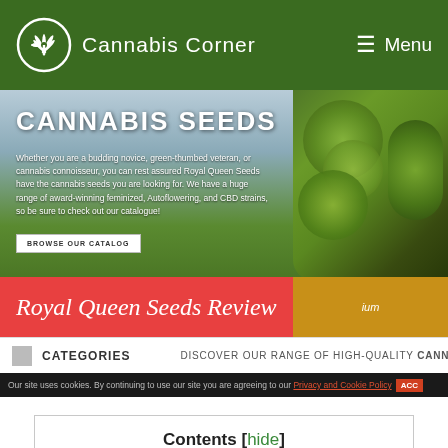Cannabis Corner   Menu
[Figure (screenshot): Cannabis seeds advertisement banner with green background, cannabis bud image, text 'CANNABIS SEEDS', descriptive paragraph, 'BROWSE OUR CATALOG' button, red overlay with 'Royal Queen Seeds Review' title]
DISCOVER OUR RANGE OF HIGH-QUALITY CANNA
CATEGORIES
Our site uses cookies. By continuing to use our site you are agreeing to our Privacy and Cookie Policy   ACC
Contents [hide]
First Glance at Royal Queen Seeds
History of the Royal Queen Seeds
Market Reputation
Best Seller Seed Strains
Green Gelato